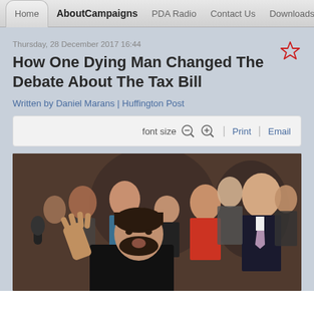Home | AboutCampaigns | PDA Radio | Contact Us | Downloads
Thursday, 28 December 2017 16:44
How One Dying Man Changed The Debate About The Tax Bill
Written by Daniel Marans | Huffington Post
font size  Print  Email
[Figure (photo): Group of people at a press conference or political event; a young man in foreground with hand raised, surrounded by politicians and attendees including a man in a dark suit with a tie and a woman in red.]